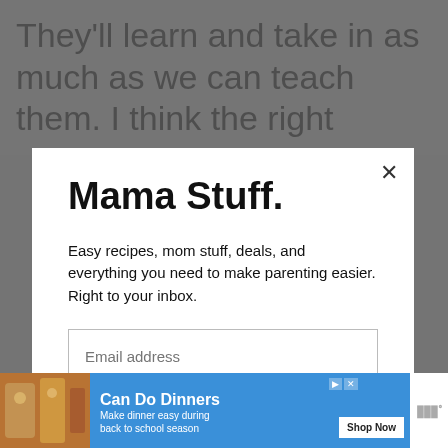They'll learn and take in as much as we can teach them. I think the right
Mama Stuff.
Easy recipes, mom stuff, deals, and everything you need to make parenting easier. Right to your inbox.
[Figure (screenshot): Email address input field]
[Figure (screenshot): Subscribe button (black background, white text)]
[Figure (screenshot): Advertisement banner: Can Do Dinners - Make dinner easy during back to school season - Shop Now button]